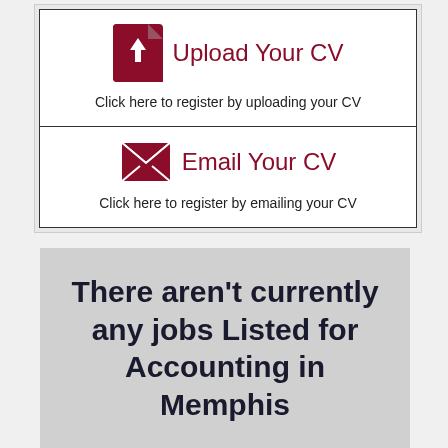[Figure (infographic): Upload Your CV button card with upload icon and text 'Click here to register by uploading your CV']
[Figure (infographic): Email Your CV button card with email icon and text 'Click here to register by emailing your CV']
There aren't currently any jobs Listed for Accounting in Memphis